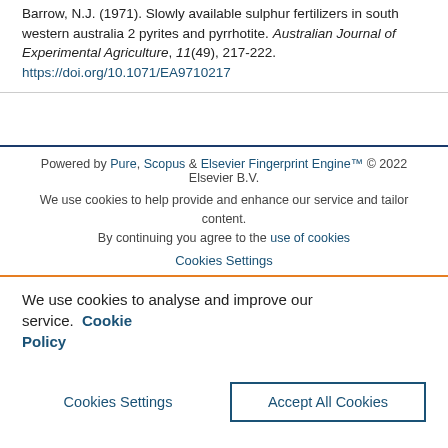Barrow, N.J. (1971). Slowly available sulphur fertilizers in south western australia 2 pyrites and pyrrhotite. Australian Journal of Experimental Agriculture, 11(49), 217-222. https://doi.org/10.1071/EA9710217
Powered by Pure, Scopus & Elsevier Fingerprint Engine™ © 2022 Elsevier B.V.
We use cookies to help provide and enhance our service and tailor content. By continuing you agree to the use of cookies
Cookies Settings
We use cookies to analyse and improve our service. Cookie Policy
Cookies Settings | Accept All Cookies